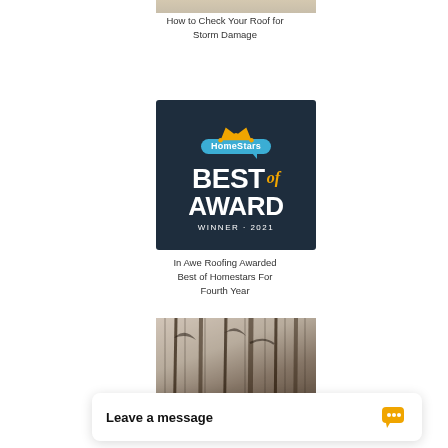[Figure (photo): Top portion of a road or path image (cropped at top of page)]
How to Check Your Roof for Storm Damage
[Figure (logo): HomeStars Best of Award Winner 2021 badge on dark navy background with orange crown and blue speech bubble]
In Awe Roofing Awarded Best of Homestars For Fourth Year
[Figure (photo): Forest scene with tall dark trees, sepia/dark tones]
Leave a message